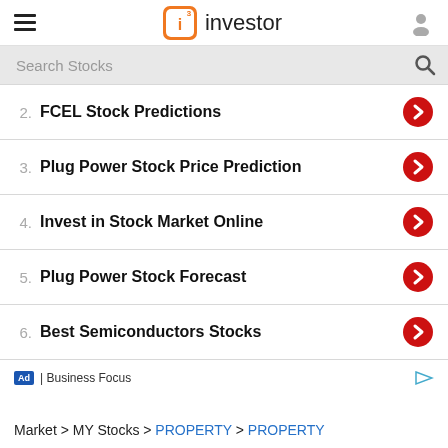i3 investor
Search Stocks
2. FCEL Stock Predictions
3. Plug Power Stock Price Prediction
4. Invest in Stock Market Online
5. Plug Power Stock Forecast
6. Best Semiconductors Stocks
Ad | Business Focus
Market > MY Stocks > PROPERTY > PROPERTY